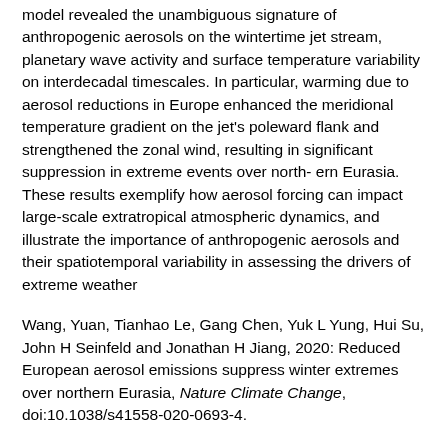model revealed the unambiguous signature of anthropogenic aerosols on the wintertime jet stream, planetary wave activity and surface temperature variability on interdecadal timescales. In particular, warming due to aerosol reductions in Europe enhanced the meridional temperature gradient on the jet's poleward flank and strengthened the zonal wind, resulting in significant suppression in extreme events over north- ern Eurasia. These results exemplify how aerosol forcing can impact large-scale extratropical atmospheric dynamics, and illustrate the importance of anthropogenic aerosols and their spatiotemporal variability in assessing the drivers of extreme weather
Wang, Yuan, Tianhao Le, Gang Chen, Yuk L Yung, Hui Su, John H Seinfeld and Jonathan H Jiang, 2020: Reduced European aerosol emissions suppress winter extremes over northern Eurasia, Nature Climate Change, doi:10.1038/s41558-020-0693-4.